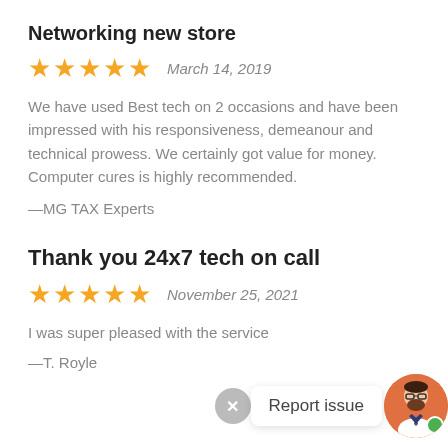Networking new store
★★★★★   March 14, 2019
We have used Best tech on 2 occasions and have been impressed with his responsiveness, demeanour and technical prowess. We certainly got value for money. Computer cures is highly recommended.
—MG TAX Experts
Thank you 24x7 tech on call
★★★★★   November 25, 2021
I was super pleased with the service
—T. Royle
[Figure (illustration): Report issue button with close X, text 'Report issue', and avatar icon of a person with beard and glasses on orange circle background with green online badge]